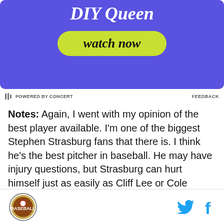[Figure (other): Advertisement banner with purple background showing 'DIY Queen' text and a yellow-green 'watch now' button]
POWERED BY CONCERT   FEEDBACK
Notes: Again, I went with my opinion of the best player available. I'm one of the biggest Stephen Strasburg fans that there is. I think he's the best pitcher in baseball. He may have injury questions, but Strasburg can hurt himself just as easily as Cliff Lee or Cole Hamels or Tim Lincecum. And he was dominant in his
[Logo] [Twitter icon] [Facebook icon]